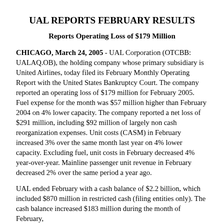UAL REPORTS FEBRUARY RESULTS
Reports Operating Loss of $179 Million
CHICAGO, March 24, 2005 - UAL Corporation (OTCBB: UALAQ.OB), the holding company whose primary subsidiary is United Airlines, today filed its February Monthly Operating Report with the United States Bankruptcy Court. The company reported an operating loss of $179 million for February 2005. Fuel expense for the month was $57 million higher than February 2004 on 4% lower capacity. The company reported a net loss of $291 million, including $92 million of largely non cash reorganization expenses. Unit costs (CASM) in February increased 3% over the same month last year on 4% lower capacity. Excluding fuel, unit costs in February decreased 4% year-over-year. Mainline passenger unit revenue in February decreased 2% over the same period a year ago.
UAL ended February with a cash balance of $2.2 billion, which included $870 million in restricted cash (filing entities only). The cash balance increased $183 million during the month of February,